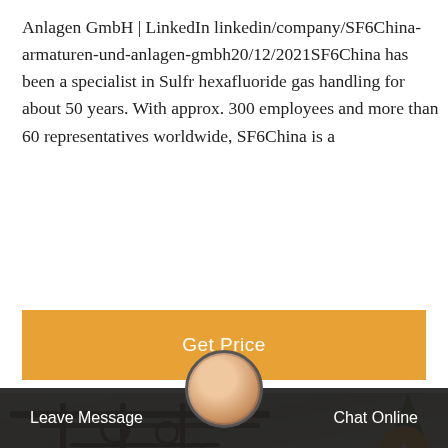Anlagen GmbH | LinkedIn linkedin/company/SF6China-armaturen-und-anlagen-gmbh20/12/2021SF6China has been a specialist in Sulfr hexafluoride gas handling for about 50 years. With approx. 300 employees and more than 60 representatives worldwide, SF6China is a
[Figure (other): Orange 'Get Price' call-to-action button]
[Figure (photo): Industrial/warehouse scene with overhead pipes and equipment, a laptop in the foreground, green plant on the right, and a circular orange scroll-up button in the lower right]
Leave Message   Chat Online